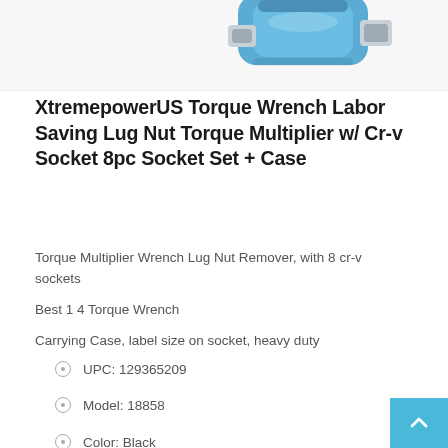[Figure (photo): Partial product photo of a blue torque wrench / torque multiplier tool with silver metal fittings, shown cropped at the top of the page against a light gray background.]
XtremepowerUS Torque Wrench Labor Saving Lug Nut Torque Multiplier w/ Cr-v Socket 8pc Socket Set + Case
Torque Multiplier Wrench Lug Nut Remover, with 8 cr-v sockets
Best 1 4 Torque Wrench
Carrying Case, label size on socket, heavy duty
UPC: 129365209
Model: 18858
Color: Black